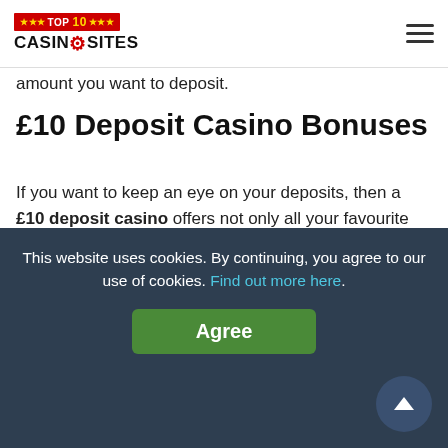TOP 10 CASINOSITES [logo with hamburger menu]
amount you want to deposit.
£10 Deposit Casino Bonuses
If you want to keep an eye on your deposits, then a £10 deposit casino offers not only all your favourite games, but also the possibility of being able to claim some amazing bonuses. The most common will be matched welcome bonuses, with amounts ranging from you depositing £10 to receiving a £30 casino bonus, all the way up to a massive £80
[Figure (screenshot): Live casino promotional banner with red LIVE badge, 'PLAY FREE LIVE CASINO' text, dealer image, and teal arrow button]
This website uses cookies. By continuing, you agree to our use of cookies. Find out more here.
Agree